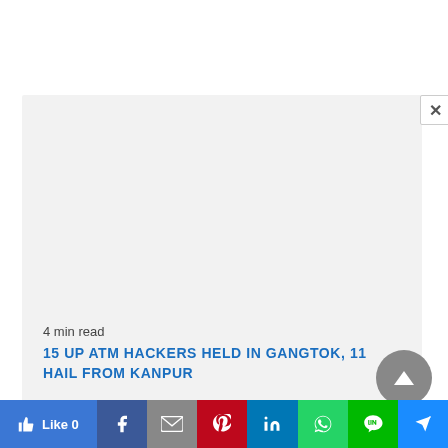[Figure (screenshot): Gray modal/overlay box with close X button in top-right corner, appearing over a white background]
4 min read
15 UP ATM HACKERS HELD IN GANGTOK, 11 HAIL FROM KANPUR
[Figure (other): Social sharing bar with Like (Facebook Like button with count 0), Facebook, Gmail, Pinterest, LinkedIn, WhatsApp, Line, and Share buttons]